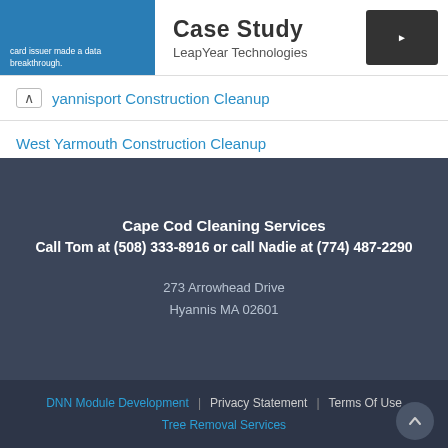Case Study — LeapYear Technologies
Hyannisport Construction Cleanup
West Yarmouth Construction Cleanup
Woods Hole Construction Cleanup
Yarmouth Port Construction Cleanup
Cape Cod Cleaning Services
Call Tom at (508) 333-8916 or call Nadie at (774) 487-2290
273 Arrowhead Drive
Hyannis MA 02601
DNN Module Development | Privacy Statement | Terms Of Use
Tree Removal Services